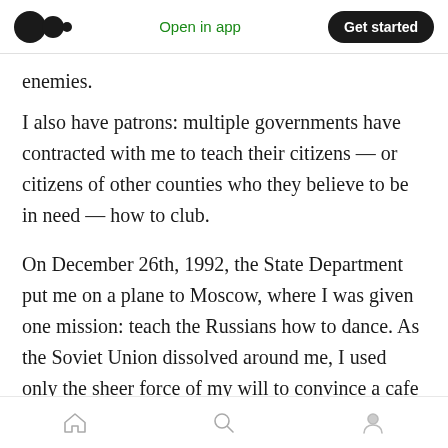Medium logo | Open in app | Get started
enemies.
I also have patrons: multiple governments have contracted with me to teach their citizens — or citizens of other counties who they believe to be in need — how to club.
On December 26th, 1992, the State Department put me on a plane to Moscow, where I was given one mission: teach the Russians how to dance. As the Soviet Union dissolved around me, I used only the sheer force of my will to convince a cafe owner to throw out the tables that used to
Home | Search | Profile